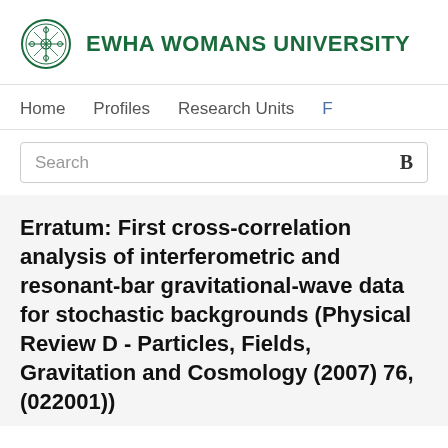EWHA WOMANS UNIVERSITY
Home   Profiles   Research Units   F
Search
Erratum: First cross-correlation analysis of interferometric and resonant-bar gravitational-wave data for stochastic backgrounds (Physical Review D - Particles, Fields, Gravitation and Cosmology (2007) 76, (022001))